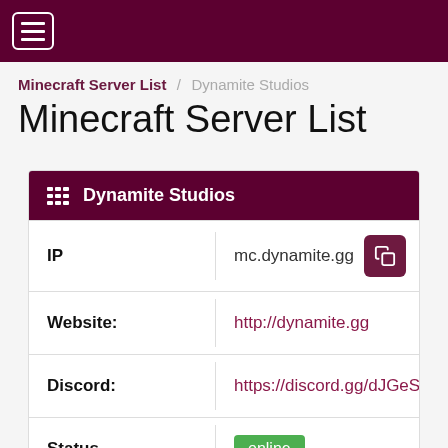☰ Navigation menu
Minecraft Server List / Dynamite Studios
Minecraft Server List
| Field | Value |
| --- | --- |
| IP | mc.dynamite.gg |
| Website: | http://dynamite.gg |
| Discord: | https://discord.gg/dJGeSfS9jT |
| Status | online |
| Players | 4 / 47 |